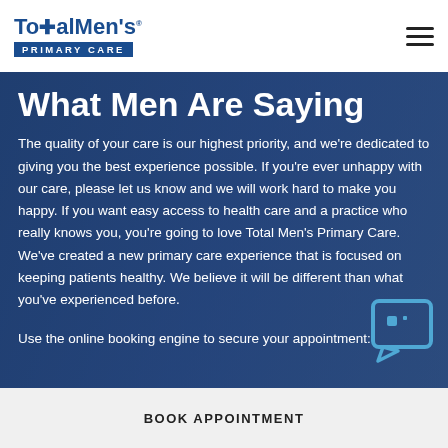Total Men's Primary Care
What Men Are Saying
The quality of your care is our highest priority, and we're dedicated to giving you the best experience possible. If you're ever unhappy with our care, please let us know and we will work hard to make you happy. If you want easy access to health care and a practice who really knows you, you're going to love Total Men's Primary Care. We've created a new primary care experience that is focused on keeping patients healthy. We believe it will be different than what you've experienced before.
Use the online booking engine to secure your appointment:
BOOK APPOINTMENT